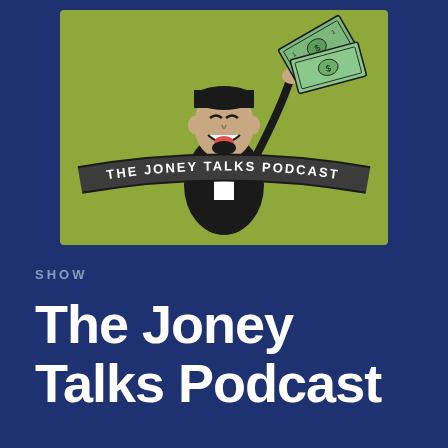[Figure (logo): The Joney Talks Podcast logo: olive/yellow-green square background with a cartoon illustration of a man in a suit biting/eating dollar bills, with a curved banner reading 'THE JONEY TALKS PODCAST' in white text]
SHOW
The Joney Talks Podcast